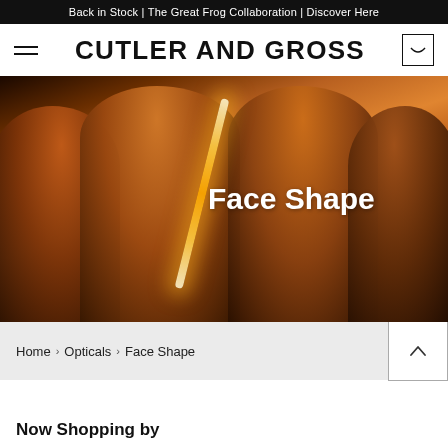Back in Stock | The Great Frog Collaboration | Discover Here
CUTLER AND GROSS
[Figure (photo): Hero image of four people wearing stylish eyeglasses in warm amber/orange lighting, with text 'Face Shape' overlaid in white]
Home > Opticals > Face Shape
Now Shopping by